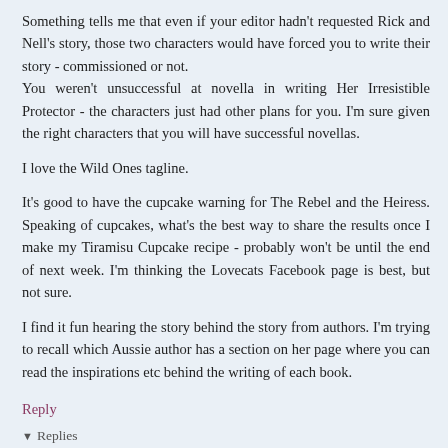Something tells me that even if your editor hadn't requested Rick and Nell's story, those two characters would have forced you to write their story - commissioned or not.
You weren't unsuccessful at novella in writing Her Irresistible Protector - the characters just had other plans for you. I'm sure given the right characters that you will have successful novellas.
I love the Wild Ones tagline.
It's good to have the cupcake warning for The Rebel and the Heiress. Speaking of cupcakes, what's the best way to share the results once I make my Tiramisu Cupcake recipe - probably won't be until the end of next week. I'm thinking the Lovecats Facebook page is best, but not sure.
I find it fun hearing the story behind the story from authors. I'm trying to recall which Aussie author has a section on her page where you can read the inspirations etc behind the writing of each book.
Reply
▾ Replies